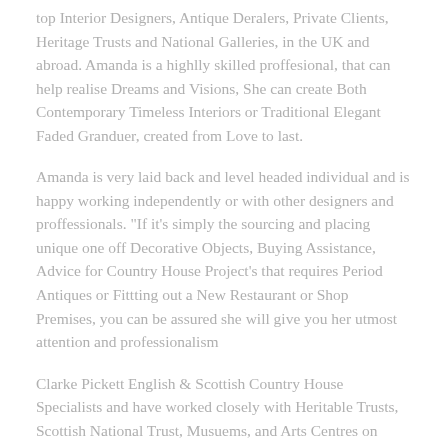top Interior Designers, Antique Deralers, Private Clients, Heritage Trusts and National Galleries, in the UK and abroad. Amanda is a highlly skilled proffesional, that can help realise Dreams and Visions, She can create Both Contemporary Timeless Interiors or Traditional Elegant Faded Granduer, created from Love to last.
Amanda is very laid back and level headed individual and is happy working independently or with other designers and proffessionals. "If it's simply the sourcing and placing unique one off Decorative Objects, Buying Assistance, Advice for Country House Project's that requires Period Antiques or Fittting out a New Restaurant or Shop Premises, you can be assured she will give you her utmost attention and professionalism
Clarke Pickett English & Scottish Country House Specialists and have worked closely with Heritable Trusts, Scottish National Trust, Musuems, and Arts Centres on various projects throughout the U.K.